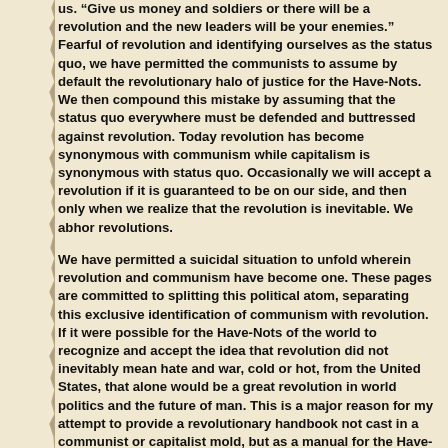us. Give us money and soldiers or there will be a revolution and the new leaders will be your enemies." Fearful of revolution and identifying ourselves as the status quo, we have permitted the communists to assume by default the revolutionary halo of justice for the Have-Nots. We then compound this mistake by assuming that the status quo everywhere must be defended and buttressed against revolution. Today revolution has become synonymous with communism while capitalism is synonymous with status quo. Occasionally we will accept a revolution if it is guaranteed to be on our side, and then only when we realize that the revolution is inevitable. We abhor revolutions.
We have permitted a suicidal situation to unfold wherein revolution and communism have become one. These pages are committed to splitting this political atom, separating this exclusive identification of communism with revolution. If it were possible for the Have-Nots of the world to recognize and accept the idea that revolution did not inevitably mean hate and war, cold or hot, from the United States, that alone would be a great revolution in world politics and the future of man. This is a major reason for my attempt to provide a revolutionary handbook not cast in a communist or capitalist mold, but as a manual for the Have-Nots of the world regardless of the color of their skins or their politics. My aim here is to suggest how to organize for power: how to get it and to use it. I will argue that the failure to use power for a more equitable distribution of the means of